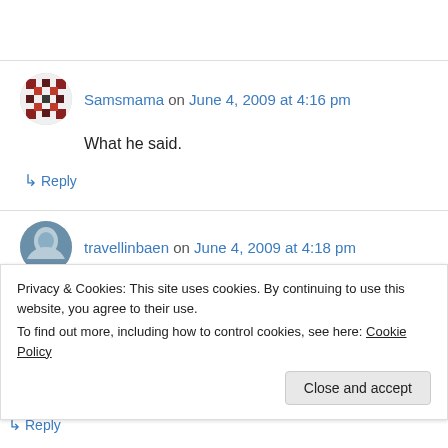Samsmama on June 4, 2009 at 4:16 pm
What he said.
↳ Reply
travellinbaen on June 4, 2009 at 4:18 pm
Privacy & Cookies: This site uses cookies. By continuing to use this website, you agree to their use.
To find out more, including how to control cookies, see here: Cookie Policy
Close and accept
↳ Reply